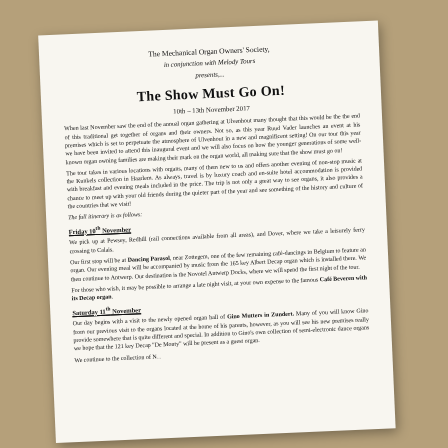The Mechanical Organ Owners' Society, in conjunction with Melody Tours presents,...
The Show Must Go On!
10th – 13th November 2017
When last November saw the end of the annual organ gathering at Ulvenhout many thought that this would be the the end of this traditional get together of organs and their owners. Not so, as this year Ruud Vader launches an event at his premises which is set to perpetuate the atmosphere of Ulvenhout in a new and magnificent setting! On our tour this year we have been invited to attend this inaugural event and we will also focus on how the younger generations of some well-known organ owning families are making their mark on the organ world, all making sure that the show must go on!
The tour takes in various locations with organs, many of them new to us and offers another evening of non-stop music at the Kunkels collection in Haarlem. As always, travel is by luxury coach and en-suite hotel accommodation is provided with breakfast and evening meals included in the price. The trip is not only a great way to see organs, it also provides a chance to meet up with your old friends during the quieter part of the year and see something of the history and culture of the countries that we visit!
The full itinerary is as follows:
Friday 10th November
We pick up at Pewsey, Redhill (rail connections available from all areas), and Dover, where we take a leisurely ferry crossing to Calais.
Our first stop will be at Dancing Parasol, near Zottegem, one of the few remaining café-dancings in Belgium to feature an organ. Our evening meal will be accompanied by music from the 165 key Albert Decap organ which is installed there. We then continue to Antwerp. Our destination is the Novotel Antwerp Docks, where we will spend the first night of the tour.
For those who wish, it may be possible to arrange a late night visit, at your own expense to the famous Café Beveren with its Decap organ.
Saturday 11th November
Our day begins with a visit to the newly opened organ hall of Gino Mutters in Zundert. Many of you will know Gino from our previous visit to the organs located at the home of his parents, however, as you will see his new premises really provide somewhere that is quite different and special. In addition to Gino's own collection of semi-electronic dance organs we hope that the 121 key Decap "De Monty" will be present as a guest organ.
We continue to the collection of N...